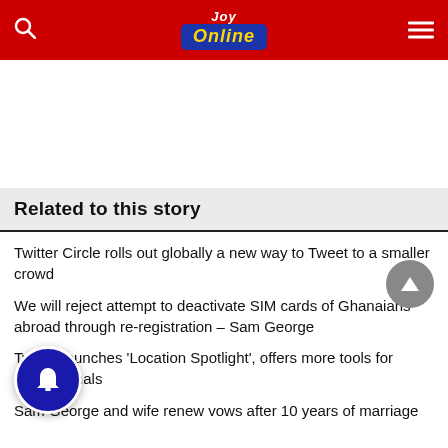JOY Online
Related to this story
Twitter Circle rolls out globally a new way to Tweet to a smaller crowd
We will reject attempt to deactivate SIM cards of Ghanaians abroad through re-registration – Sam George
Twitter launches 'Location Spotlight', offers more tools for professionals
Sam George and wife renew vows after 10 years of marriage